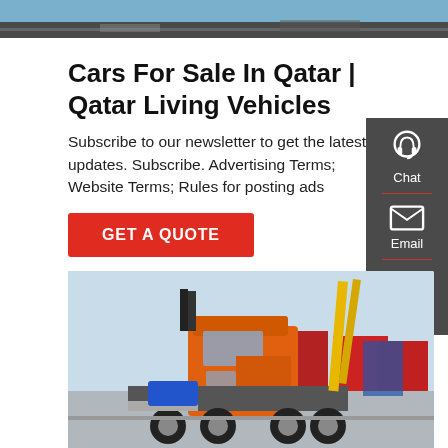[Figure (photo): Top banner image showing a road/highway scene]
Cars For Sale In Qatar | Qatar Living Vehicles
Subscribe to our newsletter to get the latest updates. Subscribe. Advertising Terms; Website Terms; Rules for posting ads
[Figure (other): Red GET A QUOTE button]
[Figure (photo): Orange semi-truck/tractor unit in a truck yard with multiple red trucks in background]
[Figure (infographic): Dark sidebar with Chat (headset icon), Email (envelope icon), and Contact (speech bubble icon) options]